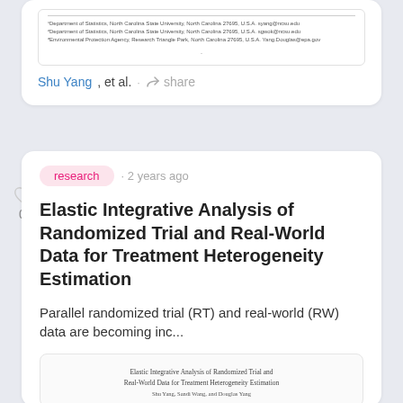[Figure (screenshot): Partial view of a paper thumbnail card showing affiliation lines and a page dot]
Shu Yang, et al. · share
[Figure (screenshot): Social feed card showing a research paper listing with like button, research tag, timestamp, title, abstract snippet, and paper thumbnail]
research · 2 years ago
Elastic Integrative Analysis of Randomized Trial and Real-World Data for Treatment Heterogeneity Estimation
Parallel randomized trial (RT) and real-world (RW) data are becoming inc...
[Figure (screenshot): Thumbnail of paper: Elastic Integrative Analysis of Randomized Trial and Real-World Data for Treatment Heterogeneity Estimation, by Shu Yang, Sandi Wang, and Douglas Yang]